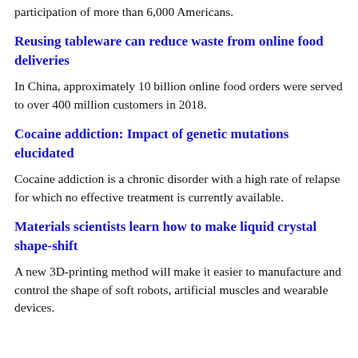participation of more than 6,000 Americans.
Reusing tableware can reduce waste from online food deliveries
In China, approximately 10 billion online food orders were served to over 400 million customers in 2018.
Cocaine addiction: Impact of genetic mutations elucidated
Cocaine addiction is a chronic disorder with a high rate of relapse for which no effective treatment is currently available.
Materials scientists learn how to make liquid crystal shape-shift
A new 3D-printing method will make it easier to manufacture and control the shape of soft robots, artificial muscles and wearable devices.